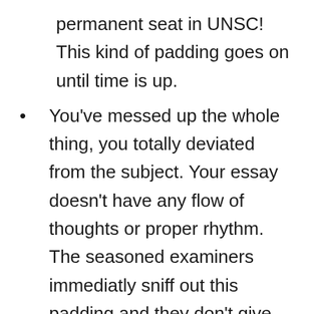permanent seat in UNSC! This kind of padding goes on until time is up.
You've messed up the whole thing, you totally deviated from the subject. Your essay doesn't have any flow of thoughts or proper rhythm. The seasoned examiners immediatly sniff out this padding and they don't give much marks for it, your expected score for this kind of garbage writing is less than 50/200, means even with decent score in all other papers, your chances of getting interview call is close to